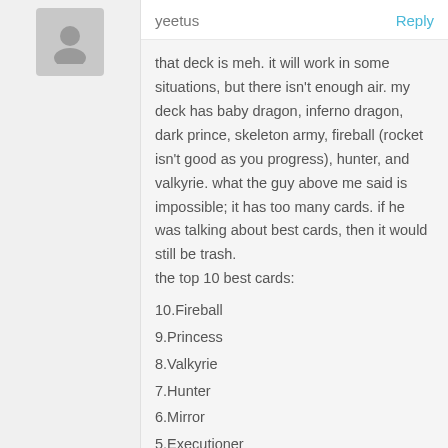yeetus   Reply
that deck is meh. it will work in some situations, but there isn't enough air. my deck has baby dragon, inferno dragon, dark prince, skeleton army, fireball (rocket isn't good as you progress), hunter, and valkyrie. what the guy above me said is impossible; it has too many cards. if he was talking about best cards, then it would still be trash.
the top 10 best cards:
10.Fireball
9.Princess
8.Valkyrie
7.Hunter
6.Mirror
5.Executioner
4.Inferno Dragon